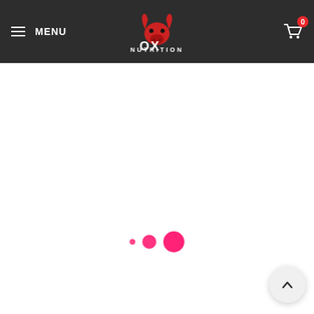[Figure (screenshot): OX Nutrition website navigation bar with hamburger menu on the left, OX Nutrition logo in the center (red ox head above white OX text with NUTRITION below), and shopping cart icon with red badge showing 0 on the right. Background is dark gray (#2d2d2d).]
[Figure (other): Loading spinner animation showing three pink/hot-pink dots of increasing size (small, medium, large) centered on a white page background, indicating page content is loading.]
[Figure (other): Back-to-top button: circular white/light gray button with upward-pointing chevron arrow, positioned in the bottom-right corner of the page.]